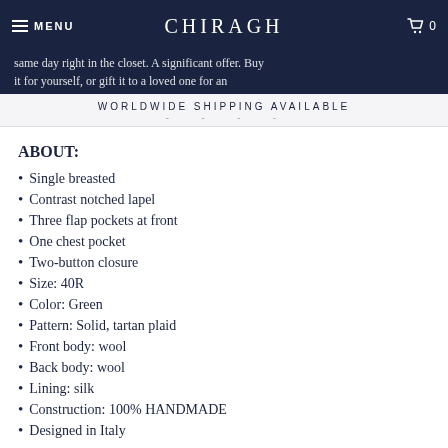MENU | CHIRAGH | 0
same day right in the closet. A significant offer. Buy it for yourself, or gift it to a loved one for an
WORLDWIDE SHIPPING AVAILABLE
ABOUT:
Single breasted
Contrast notched lapel
Three flap pockets at front
One chest pocket
Two-button closure
Size: 40R
Color: Green
Pattern: Solid, tartan plaid
Front body: wool
Back body: wool
Lining: silk
Construction: 100% HANDMADE
Designed in Italy